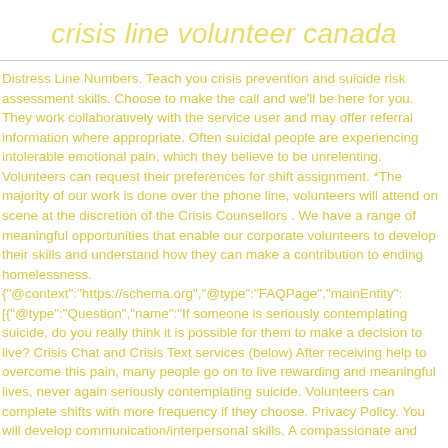crisis line volunteer canada
Distress Line Numbers. Teach you crisis prevention and suicide risk assessment skills. Choose to make the call and we'll be here for you. They work collaboratively with the service user and may offer referral information where appropriate. Often suicidal people are experiencing intolerable emotional pain, which they believe to be unrelenting. Volunteers can request their preferences for shift assignment. *The majority of our work is done over the phone line, volunteers will attend on scene at the discretion of the Crisis Counsellors . We have a range of meaningful opportunities that enable our corporate volunteers to develop their skills and understand how they can make a contribution to ending homelessness. {"@context":"https://schema.org","@type":"FAQPage","mainEntity": [{"@type":"Question","name":"If someone is seriously contemplating suicide, do you really think it is possible for them to make a decision to live? Crisis Chat and Crisis Text services (below) After receiving help to overcome this pain, many people go on to live rewarding and meaningful lives, never again seriously contemplating suicide. Volunteers can complete shifts with more frequency if they choose. Privacy Policy. You will develop communication/interpersonal skills. A compassionate and